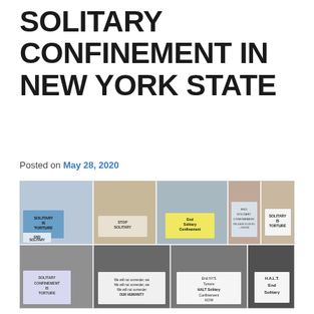SOLITARY CONFINEMENT IN NEW YORK STATE
Posted on May 28, 2020
[Figure (photo): Photo collage of people holding signs advocating to end solitary confinement. Signs read: 'SOLITARY IS TORTURE', 'END SOLITARY', 'STOP SOLITARY', 'END SOLITARY CONFINEMENT', 'END SOLITARY CONFINEMENT / RELEASE ELDERS + INFIRM', 'SOLITARY IS TORTURE', 'SOLITARY CONFINEMENT IS TORTURE', 'We will not surrender, We will not surrender, We will not surrender OUR HUMANITY', 'End NYS Torture HALT Solitary Confinement NOW', 'H.A.L.T. End Solitary'. Mix of color and black-and-white photos.]